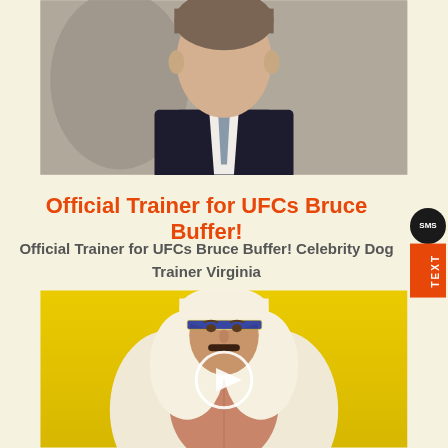[Figure (photo): Partial photo of a person wearing a dark suit and tie, visible from shoulders up, cropped at top]
Official Trainer for UFCs Bruce Buffer!
Official Trainer for UFCs Bruce Buffer! Celebrity Dog Trainer Virginia
[Figure (photo): Photo of a man dressed as an Arab sheik character with white headdress and open robe on a yellow background, with a video play button overlay]
[Figure (other): SMS/TEXT contact tab on the right side with dark bubble labeled SMS and orange bar labeled TEXT]